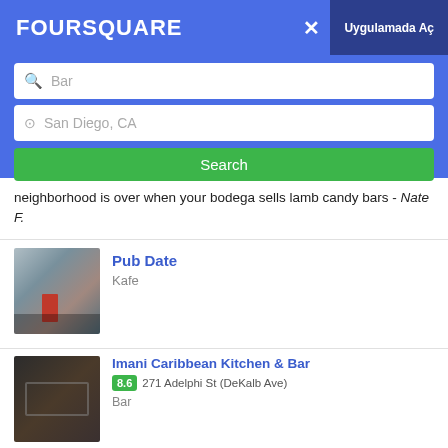FOURSQUARE
[Figure (screenshot): Foursquare search interface with search bar showing 'Bar', location field showing 'San Diego, CA', and a green Search button]
neighborhood is over when your bodega sells lamb candy bars - Nate F.
[Figure (photo): Pub Date venue thumbnail - cafe interior]
Pub Date
Kafe
[Figure (photo): Imani Caribbean Kitchen & Bar venue thumbnail]
Imani Caribbean Kitchen & Bar
8.6  271 Adelphi St (DeKalb Ave)
Bar
Food took 30+ min. Caribbean chips' guac was tasteless and didn't had ingredients listed on menu. Fish 🐟 tortillas were old and bad quality. Ramen was overcooked. Service? 🙄😴zzz!